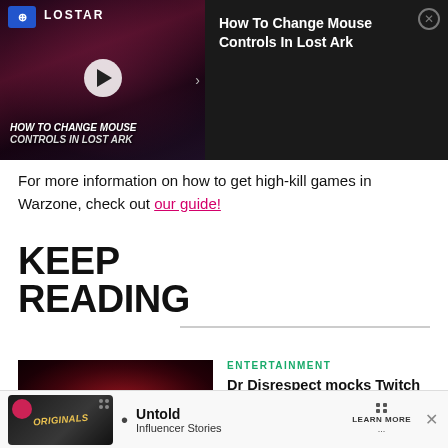[Figure (screenshot): Video ad overlay for 'How To Change Mouse Controls In Lost Ark' showing a game thumbnail with play button on dark background]
For more information on how to get high-kill games in Warzone, check out our guide!
KEEP READING
[Figure (photo): Article thumbnail showing Dr Disrespect (gaming streamer) with dark red background]
ENTERTAINMENT
Dr Disrespect mocks Twitch partner changes with dual YouTube-Facebook stream
[Figure (screenshot): Bottom advertisement banner for Untold Originals - Influencer Stories with Learn More button]